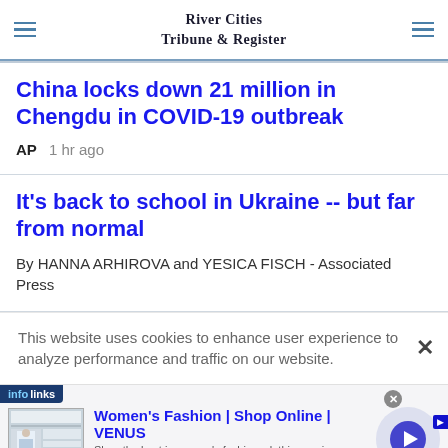River Cities Tribune & Register
China locks down 21 million in Chengdu in COVID-19 outbreak
AP  1 hr ago
It's back to school in Ukraine -- but far from normal
By HANNA ARHIROVA and YESICA FISCH - Associated Press
This website uses cookies to enhance user experience to analyze performance and traffic on our website.
[Figure (screenshot): Infolinks advertisement banner for Women's Fashion | Shop Online | VENUS showing a fashion website screenshot, ad title, description, venus.com URL, and a circular arrow button]